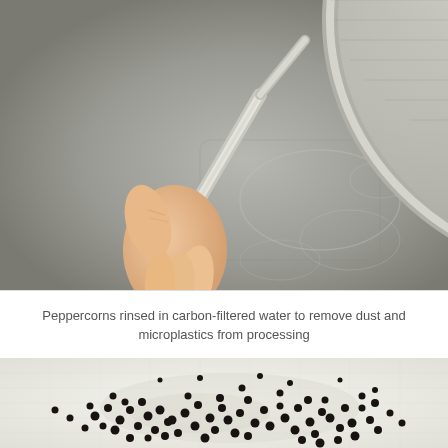[Figure (photo): A hand holding a metal mesh sieve containing black peppercorns, held over a stainless steel sink. The sieve is circular with a long metal handle, and the peppercorns are visible in the mesh basket at the top.]
Peppercorns rinsed in carbon-filtered water to remove dust and microplastics from processing
[Figure (photo): Black peppercorns spread out and drying on a white cloth or towel, photographed from above. The peppercorns are scattered in an irregular cluster pattern across the light-colored fabric.]